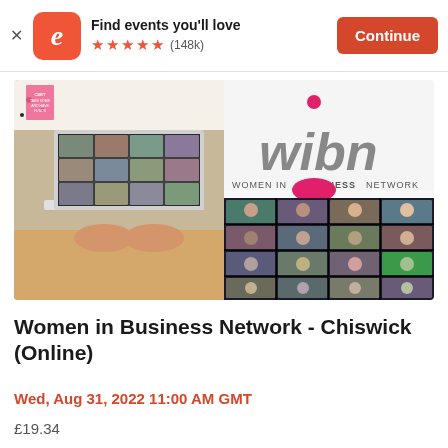Find events you'll love ★★★★★ (148k) Continue
[Figure (photo): Composite image: left half shows woman using white laptop with video call grid on screen, sticky notes on wall behind; right half shows wibn Women in Business Network logo at top and a video call grid of participants below]
Women in Business Network - Chiswick (Online)
Wed, Aug 31, 2022 11:00 AM GMT
£19.34